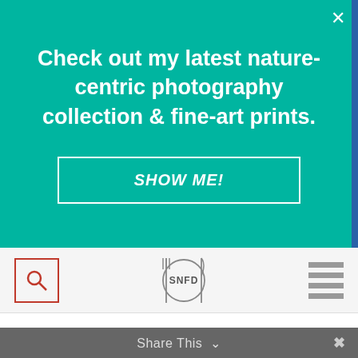Check out my latest nature-centric photography collection & fine-art prints.
SHOW ME!
[Figure (logo): SNFD logo with fork and knife around a circle containing the letters SNFD]
2 heads red leaf lettuce, torn into bite size pieces
Instructions
1. Heat oven to 350 degrees. To make spice mix combine first 6 ingredients in a small bowl. Set aside.
Share This  ✕